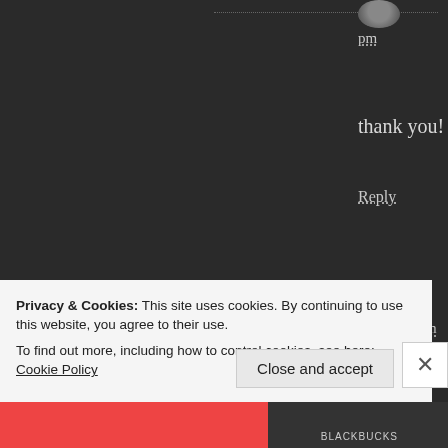pm
thank you!
Reply
tdavis77 says:
January 2, 2014 at 3:11 pm
This is a wonderful way to begin the
Privacy & Cookies: This site uses cookies. By continuing to use this website, you agree to their use.
To find out more, including how to control cookies, see here: Cookie Policy
Close and accept